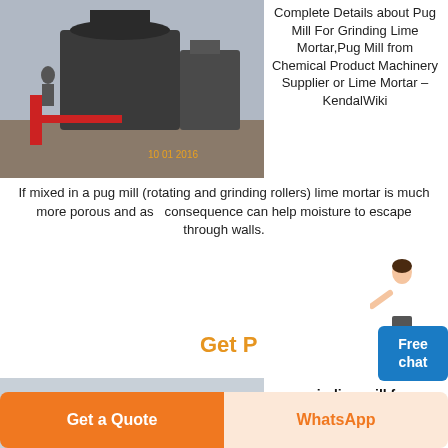[Figure (photo): Industrial pug mill machinery in an outdoor/workshop setting, dated 10 01 2016]
Complete Details about Pug Mill For Grinding Lime Mortar,Pug Mill from Chemical Product Machinery Supplier or Lime Mortar – KendalWiki If mixed in a pug mill (rotating and grinding rollers) lime mortar is much more porous and as a consequence can help moisture to escape through walls.
Get P
[Figure (photo): Grinding mill / industrial milling plant exterior with large cylindrical machinery and ducts, blue structures visible]
grinding mill for limestone
Jun 30, 2020The limestone powder produced by the grinding mill of SBM has been applicate in desulfurization of various power plants
Free chat
Get a Quote
WhatsApp